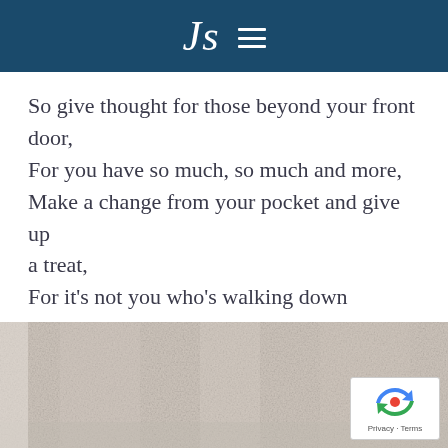Js
So give thought for those beyond your front door,
For you have so much, so much and more,
Make a change from your pocket and give up a treat,
For it’s not you who’s walking down Poverty Street.
JS
[Figure (photo): Close-up photo of a light beige/grey knitted or woven fabric texture]